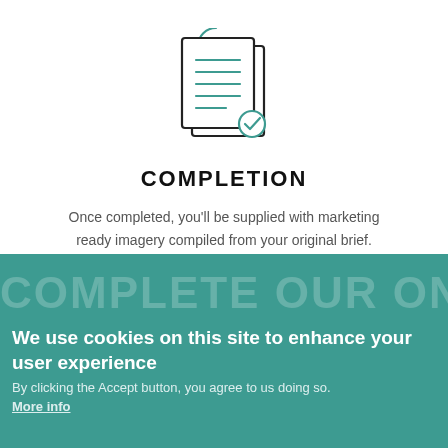[Figure (illustration): Line-art icon of two overlapping document pages with teal text lines, and a small teal checkmark circle badge in the bottom-right corner, with a partial teal arc at the top-left]
COMPLETION
Once completed, you'll be supplied with marketing ready imagery compiled from your original brief.
COMPLETE OUR ONLINE (partially visible large background text)
We use cookies on this site to enhance your user experience
By clicking the Accept button, you agree to us doing so. More info